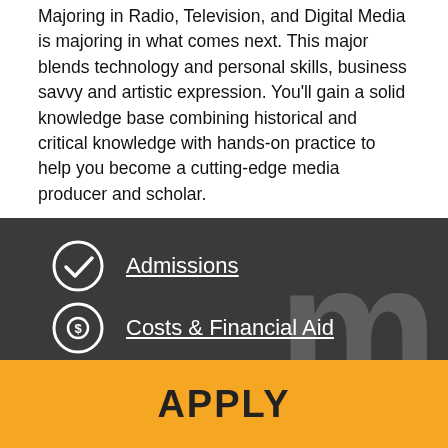Majoring in Radio, Television, and Digital Media is majoring in what comes next. This major blends technology and personal skills, business savvy and artistic expression. You'll gain a solid knowledge base combining historical and critical knowledge with hands-on practice to help you become a cutting-edge media producer and scholar.
Admissions
Costs & Financial Aid
Meet Our Faculty
APPLY